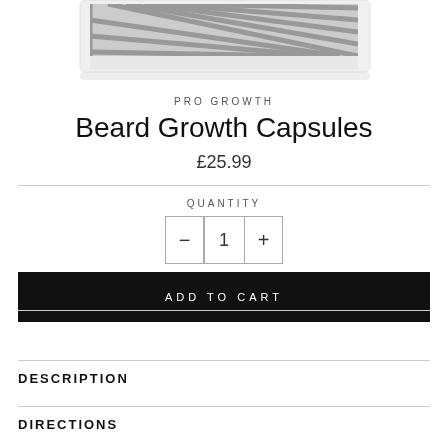[Figure (photo): Partial view of a product package (Beard Growth Capsules) showing a white rectangular box with a hatched/crosshatch pattern label area, cropped at the top of the page]
PRO GROWTH
Beard Growth Capsules
£25.99
QUANTITY
[Figure (other): Quantity selector control with minus button, value '1', and plus button, enclosed in a bordered box]
ADD TO CART
DESCRIPTION
DIRECTIONS
INGREDIENTS